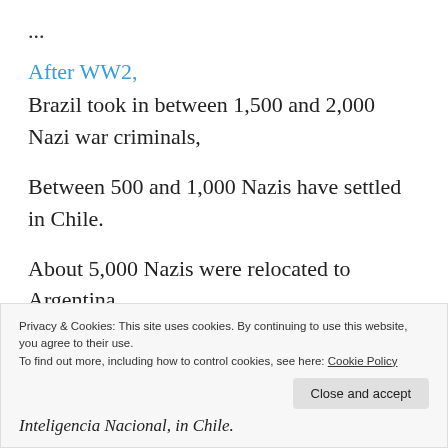...
After WW2,
Brazil took in between 1,500 and 2,000 Nazi war criminals,
Between 500 and 1,000 Nazis have settled in Chile.
About 5,000 Nazis were relocated to Argentina.
Privacy & Cookies: This site uses cookies. By continuing to use this website, you agree to their use.
To find out more, including how to control cookies, see here: Cookie Policy
Close and accept
Inteligencia Nacional, in Chile.